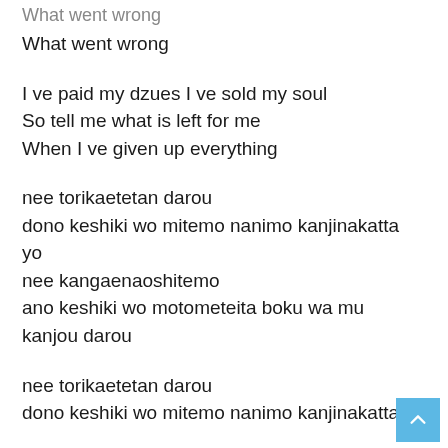What went wrong
What went wrong
I ve paid my dzues I ve sold my soul
So tell me what is left for me
When I ve given up everything
nee torikaetetan darou
dono keshiki wo mitemo nanimo kanjinakatta yo
nee kangaenaoshitemo
ano keshiki wo motometeita boku wa mu kanjou darou
nee torikaetetan darou
dono keshiki wo mitemo nanimo kanjinakatta